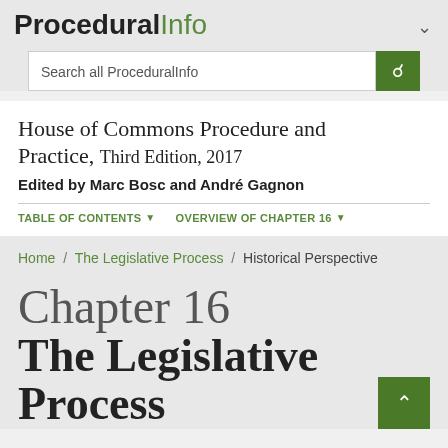ProceduralInfo
Search all ProceduralInfo
House of Commons Procedure and Practice, Third Edition, 2017
Edited by Marc Bosc and André Gagnon
TABLE OF CONTENTS ▾  OVERVIEW OF CHAPTER 16 ▾
Home / The Legislative Process / Historical Perspective
Chapter 16
The Legislative Process